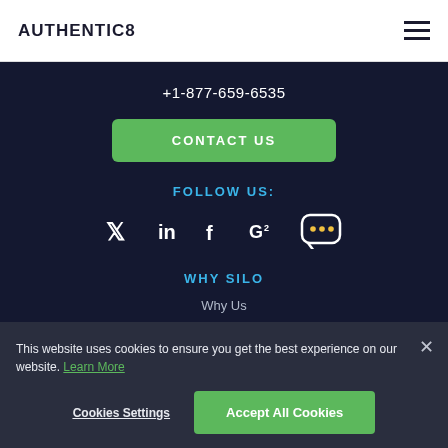AUTHENTIC8
+1-877-659-6535
CONTACT US
FOLLOW US:
[Figure (other): Social media icons: Twitter, LinkedIn, Facebook, G2, chat/review bubble]
WHY SILO
Why Us
Use Cases
This website uses cookies to ensure you get the best experience on our website. Learn More
Cookies Settings
Accept All Cookies